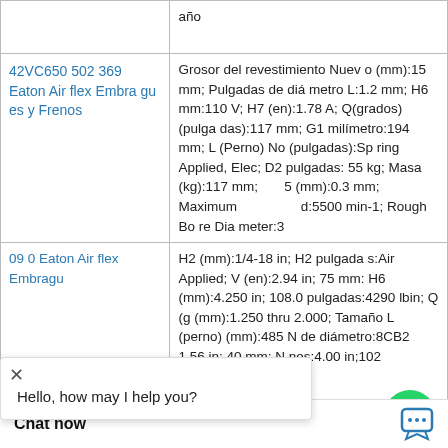| Product | Specifications |
| --- | --- |
|  | año |
| 42VC650 502 369 Eaton Airflex Embragues y Frenos | Grosor del revestimiento Nuevo (mm):15 mm; Pulgadas de diámetro L:1.2 mm; H6 mm:110 V; H7 (en):1.78 A; Q(grados) (pulgadas):117 mm; G1 milímetro:194 mm; L (Perno) No (pulgadas):Spring Applied, Elec; D2 pulgadas:55 kg; Masa (kg):117 mm; 5 (mm):0.3 mm; Maximum d:5500 min-1; Rough Bore Diameter:3 |
| 090 Eaton Airflex Embragu... | H2 (mm):1/4-18 in; H2 pulgadas:Air Applied; V (en):2.94 in; 75 mm; H6 (mm):4.250 in; 108.0 pulgadas:4290 lbin; Q (g (mm):1.250 thru 2.000; Tamaño L (perno) (mm):485 N de diámetro:8CB2 1.56 in; 40 mm; N nes:4.00 in;102 |
WhatsApp Online
Hello, how may I help you?
Chat now